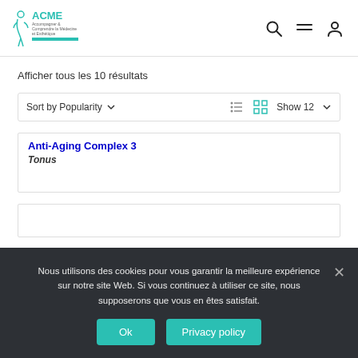ACME — Accompagner & Comprendre la Médecine et Esthétique
Afficher tous les 10 résultats
Sort by Popularity  Show 12
Anti-Aging Complex 3
Tonus
[Figure (screenshot): Second product card, empty white box]
Nous utilisons des cookies pour vous garantir la meilleure expérience sur notre site Web. Si vous continuez à utiliser ce site, nous supposerons que vous en êtes satisfait.
Ok   Privacy policy